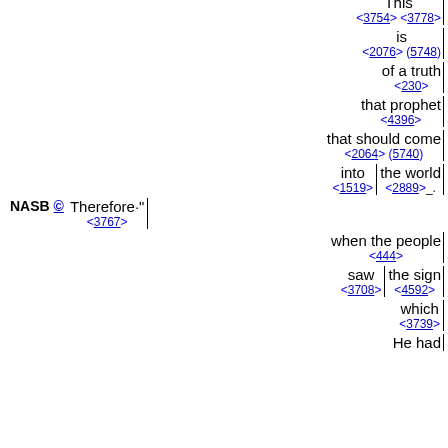This <3754> <3778>
is <2076> (5748)
of a truth <230>
that prophet <4396>
that should come <2064> (5740)
into <1519> the world <2889>_.
NASB © Therefore." <3767>
when the people <444>
saw <3708> the sign <4592>
which <3739>
He had